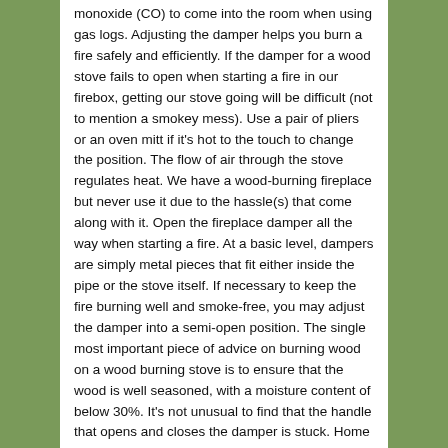monoxide (CO) to come into the room when using gas logs. Adjusting the damper helps you burn a fire safely and efficiently. If the damper for a wood stove fails to open when starting a fire in our firebox, getting our stove going will be difficult (not to mention a smokey mess). Use a pair of pliers or an oven mitt if it's hot to the touch to change the position. The flow of air through the stove regulates heat. We have a wood-burning fireplace but never use it due to the hassle(s) that come along with it. Open the fireplace damper all the way when starting a fire. At a basic level, dampers are simply metal pieces that fit either inside the pipe or the stove itself. If necessary to keep the fire burning well and smoke-free, you may adjust the damper into a semi-open position. The single most important piece of advice on burning wood on a wood burning stove is to ensure that the wood is well seasoned, with a moisture content of below 30%. It's not unusual to find that the handle that opens and closes the damper is stuck. Home » Blog » How to Open a Damper. I have the intrepid II and I keep the damper open most of the time. To use a wood stove, start by opening the damper valve underneath the grate so that the fire gets enough oxygen